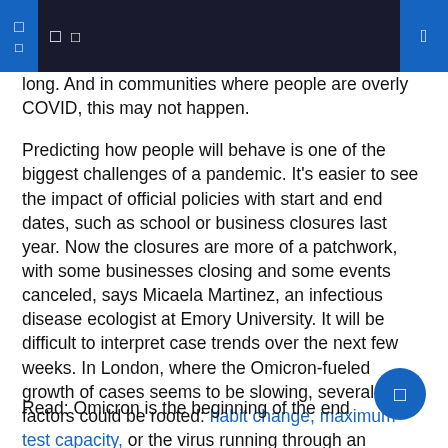long. And in communities where people are overly COVID, this may not happen.
Predicting how people will behave is one of the biggest challenges of a pandemic. It's easier to see the impact of official policies with start and end dates, such as school or business closures last year. Now the closures are more of a patchwork, with some businesses closing and some events canceled, says Micaela Martinez, an infectious disease ecologist at Emory University. It will be difficult to interpret case trends over the next few weeks. In London, where the Omicron-fueled growth of cases seems to be slowing, several factors could be rooted: habit change, maximum test capacity, or the virus running through an immune wall.
Read: Omicron is the beginning of the end